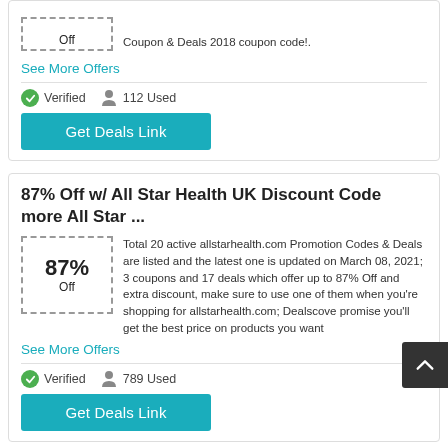Coupon & Deals 2018 coupon code!.
See More Offers
Verified   112 Used
Get Deals Link
87% Off w/ All Star Health UK Discount Code more All Star ...
[Figure (other): Coupon box showing 87% Off in dashed border]
Total 20 active allstarhealth.com Promotion Codes & Deals are listed and the latest one is updated on March 08, 2021; 3 coupons and 17 deals which offer up to 87% Off and extra discount, make sure to use one of them when you're shopping for allstarhealth.com; Dealscove promise you'll get the best price on products you want
See More Offers
Verified   789 Used
Get Deals Link